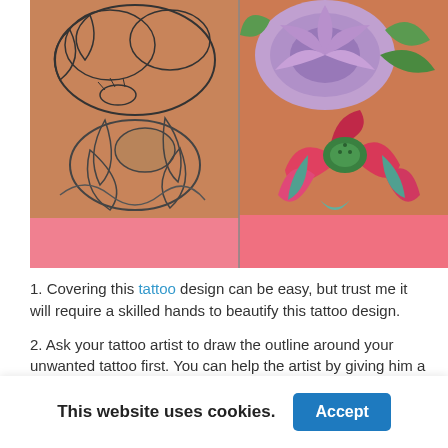[Figure (photo): Side-by-side comparison of a tattoo before and after colorization. Left: black outline floral tattoo (peonies/lotus) on skin with pink clothing. Right: same tattoo filled with vibrant colors — purple chrysanthemum, green leaves, red and teal lotus flower.]
1. Covering this tattoo design can be easy, but trust me it will require a skilled hands to beautify this tattoo design.
2. Ask your tattoo artist to draw the outline around your unwanted tattoo first. You can help the artist by giving him a
This website uses cookies.